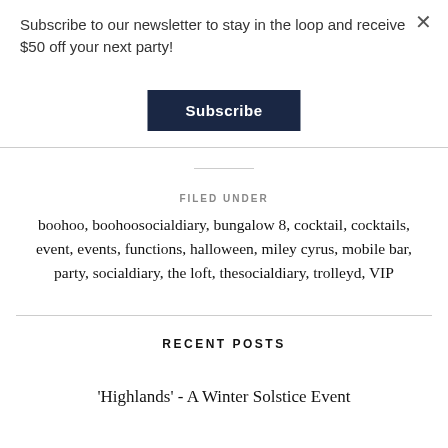Subscribe to our newsletter to stay in the loop and receive $50 off your next party!
Subscribe
FILED UNDER
boohoo, boohoosocialdiary, bungalow 8, cocktail, cocktails, event, events, functions, halloween, miley cyrus, mobile bar, party, socialdiary, the loft, thesocialdiary, trolleyd, VIP
RECENT POSTS
'Highlands' - A Winter Solstice Event